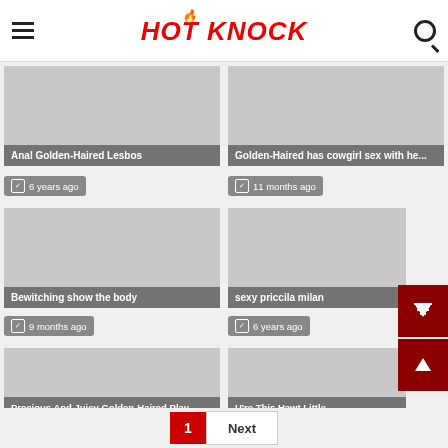HOT KNOCK
Anal Golden-Haired Lesbos
Golden-Haired has cowgirl sex with he...
6 years ago
11 months ago
Bewitching show the body
sexy priccila milan
9 months ago
6 years ago
Precious And Juicy Golden-Haired Play...
U're This Hawt Little
1  Next